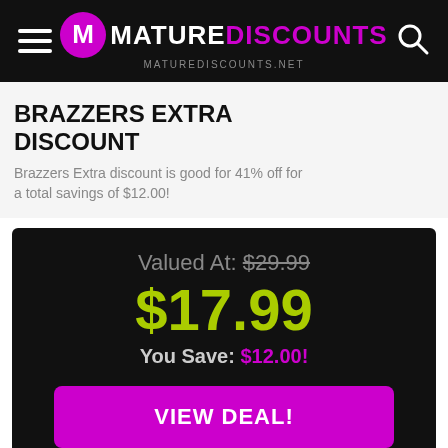MatureDiscounts — maturediscounts.net
BRAZZERS EXTRA DISCOUNT
Brazzers Extra discount is good for 41% off for a total savings of $12.00!
DISCOUNT 41%
Valued At: $29.99
$17.99
You Save: $12.00!
VIEW DEAL!
Also available:
$9.99/month